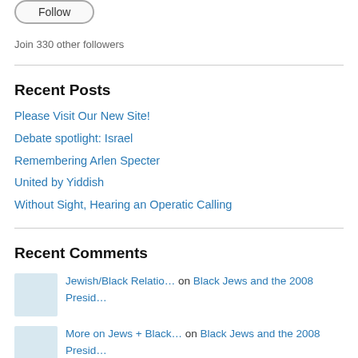[Figure (other): Follow button (rounded rectangle button outline)]
Join 330 other followers
Recent Posts
Please Visit Our New Site!
Debate spotlight: Israel
Remembering Arlen Specter
United by Yiddish
Without Sight, Hearing an Operatic Calling
Recent Comments
Jewish/Black Relatio… on Black Jews and the 2008 Presid…
More on Jews + Black… on Black Jews and the 2008 Presid…
Washington Post Repo… on Israel, Hezbollah Complete